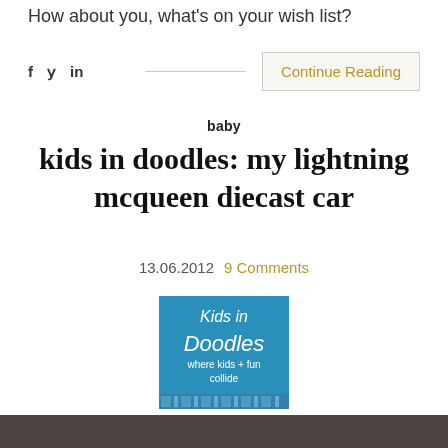How about you, what's on your wish list?
f  y  in   Continue Reading
baby
kids in doodles: my lightning mcqueen diecast car
13.06.2012   9 Comments
[Figure (logo): Kids in Doodles logo — teal/blue square with white text 'Kids in Doodles where kids + fun collide' and decorative bottom border with colored rectangles]